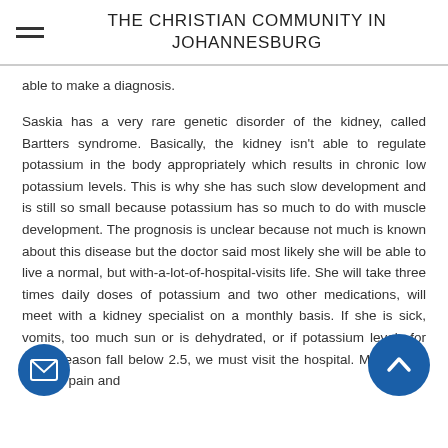THE CHRISTIAN COMMUNITY IN JOHANNESBURG
able to make a diagnosis.
Saskia has a very rare genetic disorder of the kidney, called Bartters syndrome. Basically, the kidney isn't able to regulate potassium in the body appropriately which results in chronic low potassium levels. This is why she has such slow development and is still so small because potassium has so much to do with muscle development. The prognosis is unclear because not much is known about this disease but the doctor said most likely she will be able to live a normal, but with-a-lot-of-hospital-visits life. She will take three times daily doses of potassium and two other medications, will meet with a kidney specialist on a monthly basis. If she is sick, vomits, too much sun or is dehydrated, or if potassium levels for some reason fall below 2.5, we must visit the hospital. Most likely, muscle pain and cramping will be a lifelong challenge and side